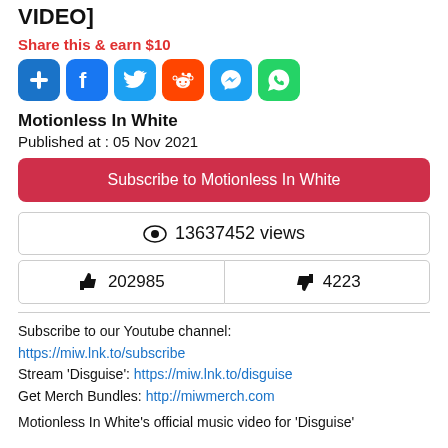VIDEO]
Share this & earn $10
[Figure (other): Social share icon buttons: plus, Facebook, Twitter, Reddit, Messenger, WhatsApp]
Motionless In White
Published at : 05 Nov 2021
Subscribe to Motionless In White
👁 13637452 views
👍 202985   👎 4223
Subscribe to our Youtube channel:
https://miw.lnk.to/subscribe
Stream 'Disguise': https://miw.lnk.to/disguise
Get Merch Bundles: http://miwmerch.com
Motionless In White's official music video for 'Disguise'